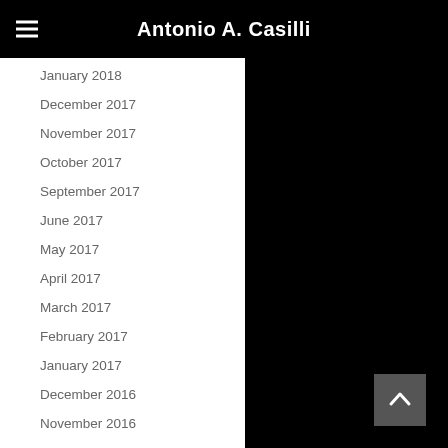Antonio A. Casilli
January 2018
December 2017
November 2017
October 2017
September 2017
June 2017
May 2017
April 2017
March 2017
February 2017
January 2017
December 2016
November 2016
October 2016
September 2016
August 2016
July 2016
June 2016
May 2016